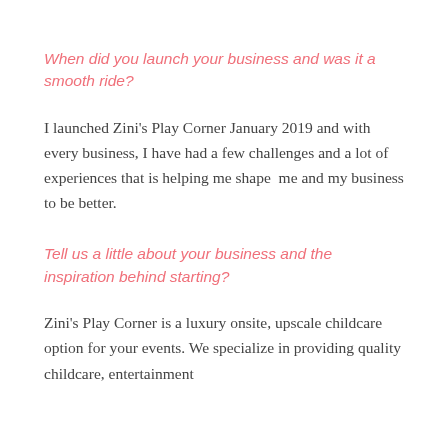When did you launch your business and was it a smooth ride?
I launched Zini's Play Corner January 2019 and with every business, I have had a few challenges and a lot of experiences that is helping me shape  me and my business to be better.
Tell us a little about your business and the inspiration behind starting?
Zini's Play Corner is a luxury onsite, upscale childcare option for your events. We specialize in providing quality childcare, entertainment